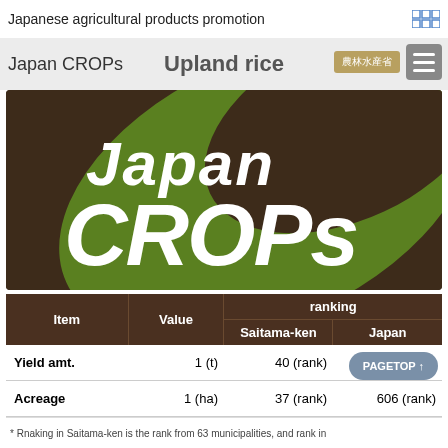Japanese agricultural products promotion
Japan CROPs
Upland rice
[Figure (logo): Japan CROPs logo: dark brown background with large green leaf shape, white italic text 'Japan CROPs']
| Item | Value | ranking Saitama-ken | ranking Japan |
| --- | --- | --- | --- |
| Yield amt. | 1 (t) | 40 (rank) | 633 (rank) |
| Acreage | 1 (ha) | 37 (rank) | 606 (rank) |
| Yield per 10a | 200 (kg) | 37 (rank) | (…) |
* Rnaking in Saitama-ken is the rank from 63 municipalities, and rank in